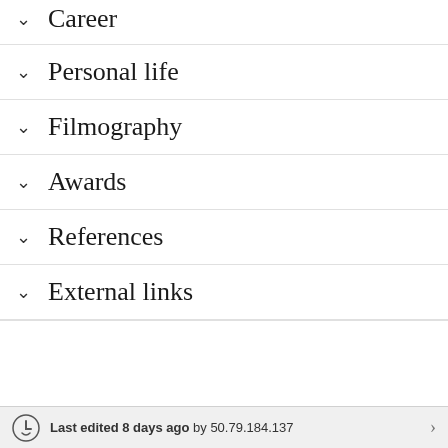Career
Personal life
Filmography
Awards
References
External links
Last edited 8 days ago by 50.79.184.137